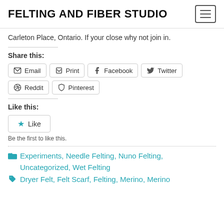FELTING AND FIBER STUDIO
Carleton Place, Ontario. If your close why not join in.
Share this:
Email  Print  Facebook  Twitter  Reddit  Pinterest
Like this:
Like
Be the first to like this.
Experiments, Needle Felting, Nuno Felting, Uncategorized, Wet Felting
Dryer Felt, Felt Scarf, Felting, Merino, Merino